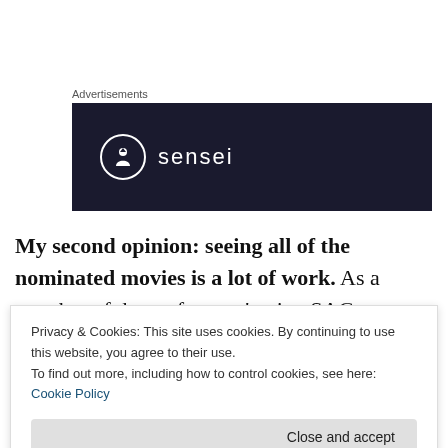Advertisements
[Figure (logo): Sensei brand logo: white circle with tree/person icon and the word 'sensei' in white text on a dark navy background]
My second opinion: seeing all of the nominated movies is a lot of work. As a member of the performers' union SAG-AFTRA, I'm sent copies of nearly all of the movies nominated each year. I try to watch all of them, but
Privacy & Cookies: This site uses cookies. By continuing to use this website, you agree to their use.
To find out more, including how to control cookies, see here: Cookie Policy
Close and accept
not awards season, I watch the movies in the order of my